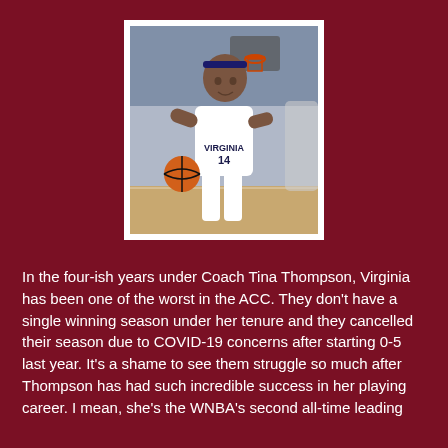[Figure (photo): A female basketball player wearing a Virginia #14 jersey dribbling a basketball on court. She has a headband and the arena background is visible.]
In the four-ish years under Coach Tina Thompson, Virginia has been one of the worst in the ACC. They don't have a single winning season under her tenure and they cancelled their season due to COVID-19 concerns after starting 0-5 last year. It's a shame to see them struggle so much after Thompson has had such incredible success in her playing career. I mean, she's the WNBA's second all-time leading